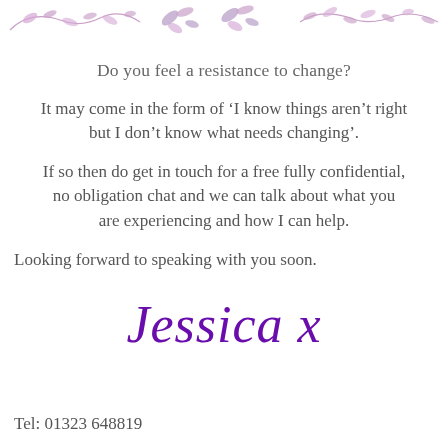[Figure (illustration): Decorative floral/leaf vine border in muted purple/mauve tones across the top of the page]
Do you feel a resistance to change?
It may come in the form of ‘I know things aren’t right but I don’t know what needs changing’.
If so then do get in touch for a free fully confidential, no obligation chat and we can talk about what you are experiencing and how I can help.
Looking forward to speaking with you soon.
[Figure (illustration): Handwritten signature reading 'Jessica x' in purple cursive script]
Tel: 01323 648819